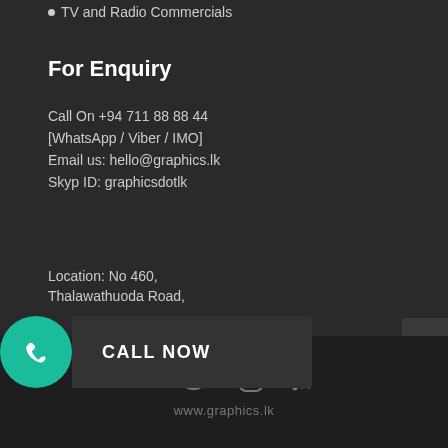TV and Radio Commercials
For Enquiry
Call On +94 711 88 88 44
[WhatsApp / Viber / IMO]
Email us: hello@graphics.lk
Skyp ID: graphicsdotlk
Location: No 460,
Thalawathuoda Road,
[Figure (infographic): Call Now button with green phone icon circle and dark background label 'CALL NOW']
.a.
[Figure (infographic): Scroll to top arrow button (chevron up) in dark box at right edge]
www.graphics.lk
[Figure (infographic): Social media icons: Facebook, Twitter, Instagram, RSS feed in grey on dark footer bar]